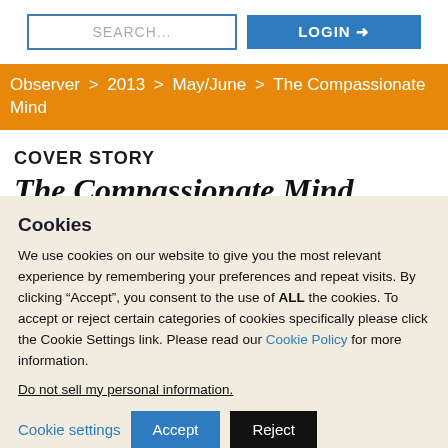[Figure (screenshot): Search input box with placeholder text SEARCH...]
[Figure (screenshot): Login button with arrow icon]
Observer > 2013 > May/June > The Compassionate Mind
COVER STORY
The Compassionate Mind
Cookies
We use cookies on our website to give you the most relevant experience by remembering your preferences and repeat visits. By clicking “Accept”, you consent to the use of ALL the cookies. To accept or reject certain categories of cookies specifically please click the Cookie Settings link. Please read our Cookie Policy for more information.
Do not sell my personal information.
Cookie settings   Accept   Reject